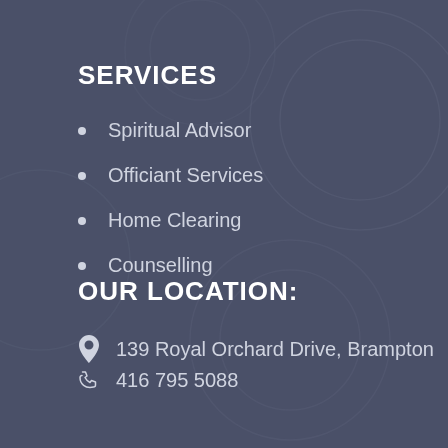SERVICES
Spiritual Advisor
Officiant Services
Home Clearing
Counselling
OUR LOCATION:
139 Royal Orchard Drive, Brampton
416 795 5088